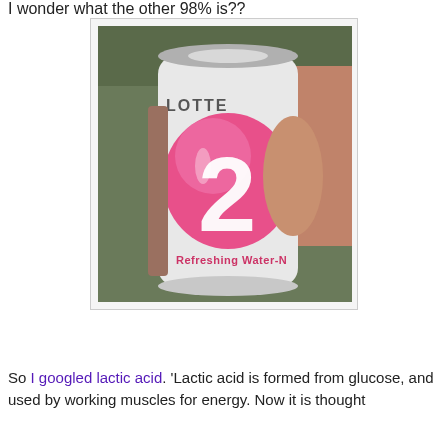I wonder what the other 98% is??
[Figure (photo): A hand holding a white can labeled 'LOTTE' with a large pink circle showing '2%' and text 'Refreshing Water-N' at the bottom.]
So I googled lactic acid. 'Lactic acid is formed from glucose, and used by working muscles for energy. Now it is thought